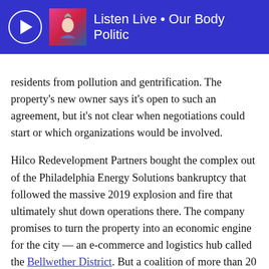Listen Live • Our Body Politic
residents from pollution and gentrification. The property's new owner says it's open to such an agreement, but it's not clear when negotiations could start or which organizations would be involved.
Hilco Redevelopment Partners bought the complex out of the Philadelphia Energy Solutions bankruptcy that followed the massive 2019 explosion and fire that ultimately shut down operations there. The company promises to turn the property into an economic engine for the city — an e-commerce and logistics hub called the Bellwether District. But a coalition of more than 20 community groups — including Philly Thrive, which has helped shape the direction of the redevelopment through persistent agitation — wants to guarantee that the